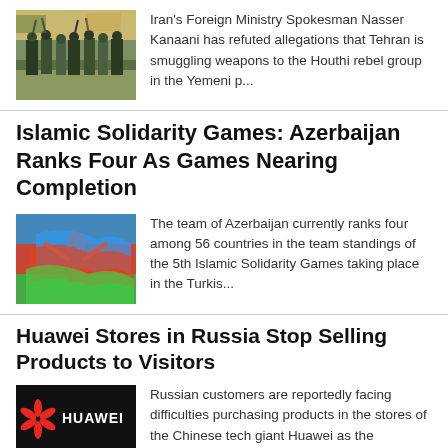[Figure (photo): Armed men in military gear raising weapons, crowd with banners in background]
Iran's Foreign Ministry Spokesman Nasser Kanaani has refuted allegations that Tehran is smuggling weapons to the Houthi rebel group in the Yemeni p...
Islamic Solidarity Games: Azerbaijan Ranks Four As Games Nearing Completion
[Figure (photo): Woman in red dress holding Azerbaijan flag, celebrating]
The team of Azerbaijan currently ranks four among 56 countries in the team standings of the 5th Islamic Solidarity Games taking place in the Turkis...
Huawei Stores in Russia Stop Selling Products to Visitors
[Figure (photo): Huawei store sign with red logo on dark background]
Russian customers are reportedly facing difficulties purchasing products in the stores of the Chinese tech giant Huawei as the